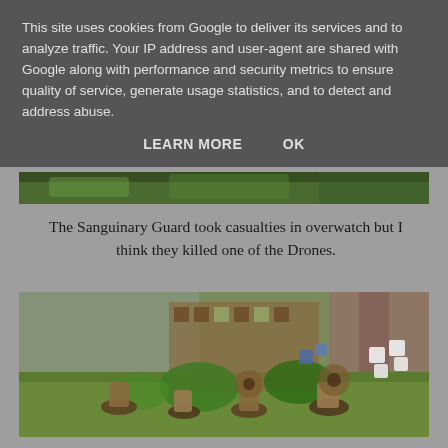This site uses cookies from Google to deliver its services and to analyze traffic. Your IP address and user-agent are shared with Google along with performance and security metrics to ensure quality of service, generate usage statistics, and to detect and address abuse.
LEARN MORE    OK
[Figure (photo): Partially visible wargaming miniatures scene with green foliage at bottom of frame]
The Sanguinary Guard took casualties in overwatch but I think they killed one of the Drones.
[Figure (photo): Wargaming tabletop scene showing miniature figures on green terrain with dice visible in background, wooden building structure, various miniatures including what appear to be Space Marines]
The Wraithlord...